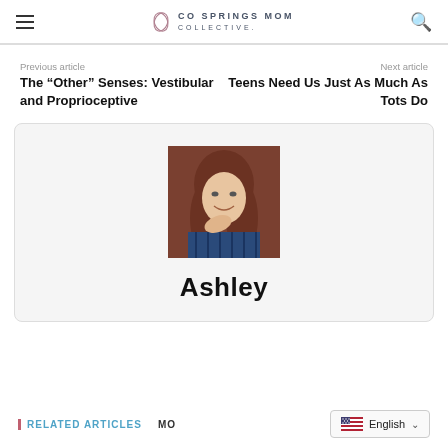CO SPRINGS MOM COLLECTIVE.
Previous article
Next article
The “Other” Senses: Vestibular and Proprioceptive
Teens Need Us Just As Much As Tots Do
[Figure (photo): Portrait photo of Ashley, a young woman with long brown hair wearing a blue striped top, resting her chin on her hand and smiling.]
Ashley
RELATED ARTICLES
MO...
English